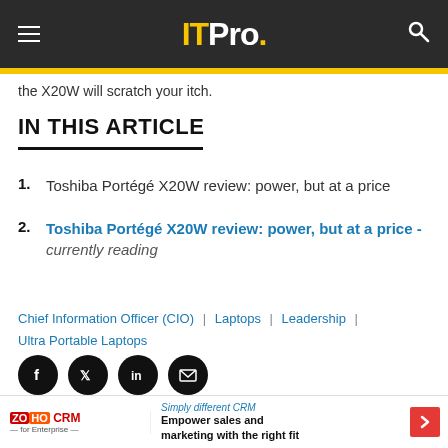IT Pro.
the X20W will scratch your itch.
IN THIS ARTICLE
1. Toshiba Portégé X20W review: power, but at a price
2. Toshiba Portégé X20W review: power, but at a price - currently reading
Chief Information Officer (CIO) | Laptops | Leadership | Ultra Portable Laptops
[Figure (other): Social sharing icons: Facebook, Twitter, LinkedIn, Email]
FEATURED RESOURCES
Going paperless in 90 days
[Figure (other): Zoho CRM advertisement: Simply different CRM. Empower sales and marketing with the right fit.]